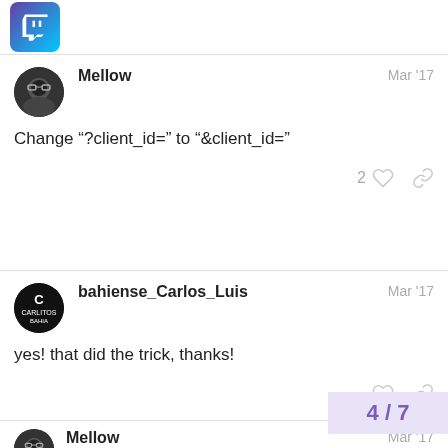Twitch Developers Forum
Mellow · Mar '17
Change "?client_id=" to "&client_id="
bahiense_Carlos_Luis · Mar '17
yes! that did the trick, thanks!
Mellow · Mar '17
I probably ought to explain why. When usin parameters, the first must begin with "?" a
4 / 7